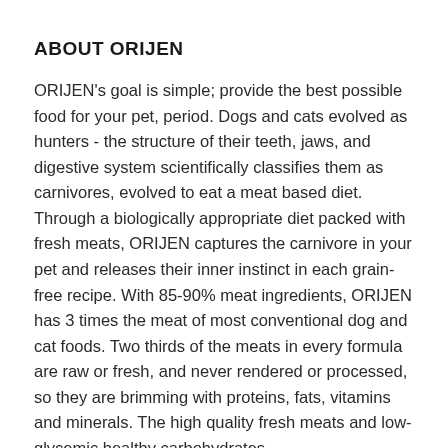ABOUT ORIJEN
ORIJEN's goal is simple; provide the best possible food for your pet, period. Dogs and cats evolved as hunters - the structure of their teeth, jaws, and digestive system scientifically classifies them as carnivores, evolved to eat a meat based diet. Through a biologically appropriate diet packed with fresh meats, ORIJEN captures the carnivore in your pet and releases their inner instinct in each grain-free recipe. With 85-90% meat ingredients, ORIJEN has 3 times the meat of most conventional dog and cat foods. Two thirds of the meats in every formula are raw or fresh, and never rendered or processed, so they are brimming with proteins, fats, vitamins and minerals. The high quality fresh meats and low-glycemic healthy carbohydrates are all sustainably sourced in the USA, and we being